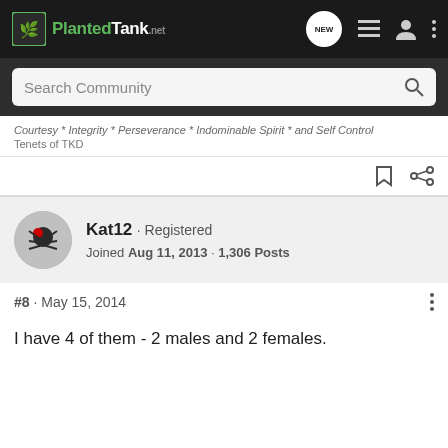PlantedTank - Search Community
Courtesy * Integrity * Perseverance * Indominable Spirit * and Self Control
Tenets of TKD
Kat12 · Registered
Joined Aug 11, 2013 · 1,306 Posts
#8 · May 15, 2014
I have 4 of them - 2 males and 2 females.